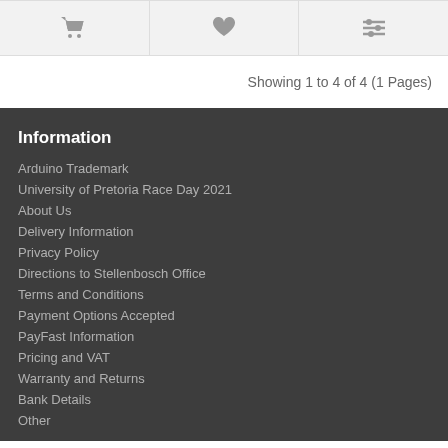[Figure (other): Icon bar with three icons: shopping cart, heart/wishlist, and filter/compare sliders on a light grey background]
Showing 1 to 4 of 4 (1 Pages)
Information
Arduino Trademark
University of Pretoria Race Day 2021
About Us
Delivery Information
Privacy Policy
Directions to Stellenbosch Office
Terms and Conditions
Payment Options Accepted
PayFast Information
Pricing and VAT
Warranty and Returns
Bank Details
Other